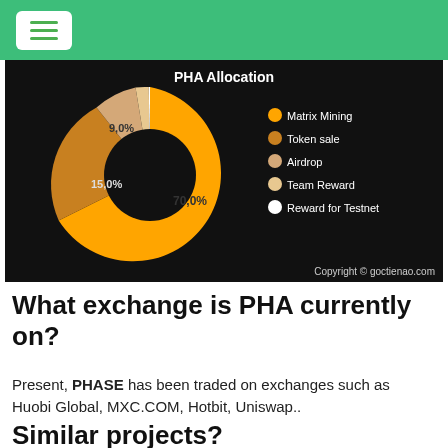[Figure (donut-chart): PHA Allocation]
What exchange is PHA currently on?
Present, PHASE has been traded on exchanges such as Huobi Global, MXC.COM, Hotbit, Uniswap..
Similar projects?